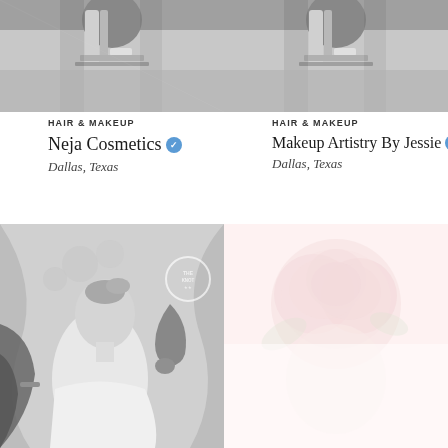[Figure (photo): Black and white close-up photo of wedding preparation, brush or comb detail, top left]
[Figure (photo): Black and white close-up photo of wedding preparation, brush or comb detail, top right]
HAIR & MAKEUP
Neja Cosmetics ✓
Dallas, Texas
HAIR & MAKEUP
Makeup Artistry By Jessie ✓
Dallas, Texas
[Figure (photo): Black and white photo of hairstylist working on bride's updo hairstyle, with watermark circle badge]
[Figure (photo): Very light pink/white faded photo of woman with floral crown made of pink peonies]